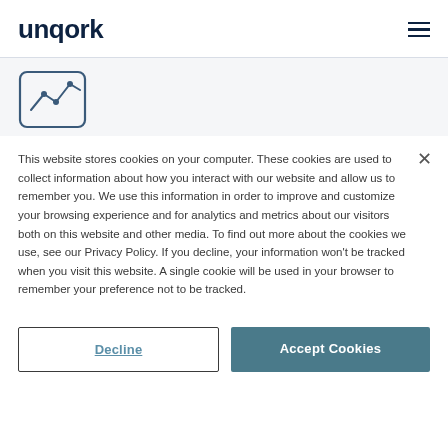unqork
[Figure (illustration): Analytics line chart icon inside a rounded rectangle frame]
This website stores cookies on your computer. These cookies are used to collect information about how you interact with our website and allow us to remember you. We use this information in order to improve and customize your browsing experience and for analytics and metrics about our visitors both on this website and other media. To find out more about the cookies we use, see our Privacy Policy. If you decline, your information won't be tracked when you visit this website. A single cookie will be used in your browser to remember your preference not to be tracked.
Decline
Accept Cookies